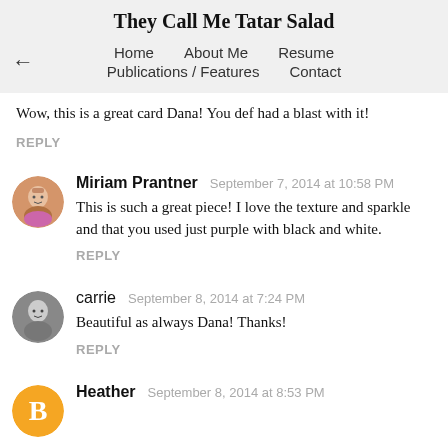They Call Me Tatar Salad
Home   About Me   Resume
Publications / Features   Contact
Wow, this is a great card Dana! You def had a blast with it!
REPLY
Miriam Prantner  September 7, 2014 at 10:58 PM
This is such a great piece! I love the texture and sparkle and that you used just purple with black and white.
REPLY
carrie  September 8, 2014 at 7:24 PM
Beautiful as always Dana! Thanks!
REPLY
Heather  September 8, 2014 at 8:53 PM